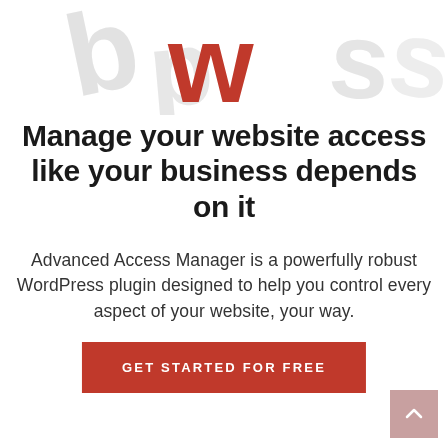[Figure (logo): WordPress-style logo with a large red 'w' letter in the center, flanked by partial grey letters 'b', 'p' on the left and 's' on the right, all slightly rotated/stylized as a decorative brand mark]
Manage your website access like your business depends on it
Advanced Access Manager is a powerfully robust WordPress plugin designed to help you control every aspect of your website, your way.
GET STARTED FOR FREE